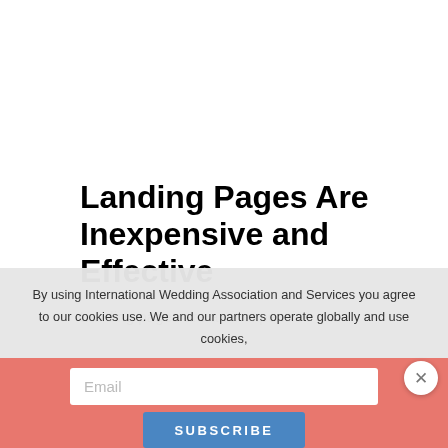Landing Pages Are Inexpensive and Effective
Landing pages are an inexpensive and
By using International Wedding Association and Services you agree to our cookies use. We and our partners operate globally and use cookies,
Email
Subscribe